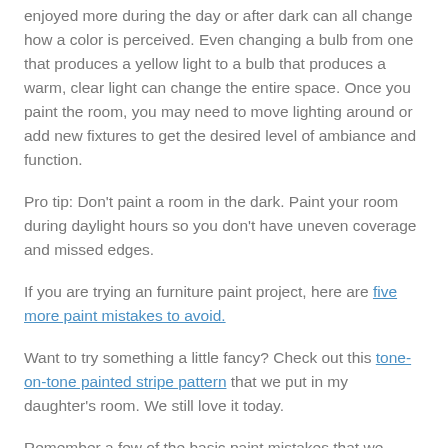enjoyed more during the day or after dark can all change how a color is perceived. Even changing a bulb from one that produces a yellow light to a bulb that produces a warm, clear light can change the entire space. Once you paint the room, you may need to move lighting around or add new fixtures to get the desired level of ambiance and function.
Pro tip: Don't paint a room in the dark. Paint your room during daylight hours so you don't have uneven coverage and missed edges.
If you are trying an furniture paint project, here are five more paint mistakes to avoid.
Want to try something a little fancy? Check out this tone-on-tone painted stripe pattern that we put in my daughter's room. We still love it today.
Remember a few of the basic paint mistakes that we talked about in our...